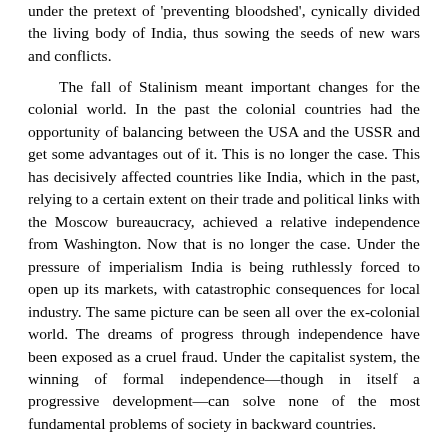under the pretext of 'preventing bloodshed', cynically divided the living body of India, thus sowing the seeds of new wars and conflicts.

The fall of Stalinism meant important changes for the colonial world. In the past the colonial countries had the opportunity of balancing between the USA and the USSR and get some advantages out of it. This is no longer the case. This has decisively affected countries like India, which in the past, relying to a certain extent on their trade and political links with the Moscow bureaucracy, achieved a relative independence from Washington. Now that is no longer the case. Under the pressure of imperialism India is being ruthlessly forced to open up its markets, with catastrophic consequences for local industry. The same picture can be seen all over the ex-colonial world. The dreams of progress through independence have been exposed as a cruel fraud. Under the capitalist system, the winning of formal independence—though in itself a progressive development—can solve none of the most fundamental problems of society in backward countries.

At present, 70 per cent of India's budget goes on debt repayment, and now the BJP government has announced a big increase in arms expenditure. This will impose new and harsh burdens on the shoulders of the workers and peasants, who will